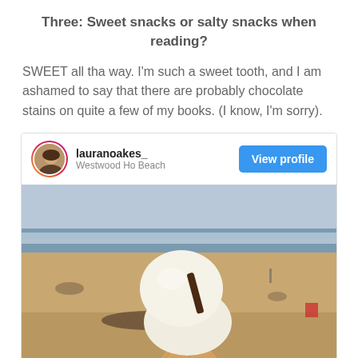Three: Sweet snacks or salty snacks when reading?
SWEET all tha way. I'm such a sweet tooth, and I am ashamed to say that there are probably chocolate stains on quite a few of my books. (I know, I'm sorry).
[Figure (screenshot): Instagram profile card showing user 'lauranoakes_' located at Westwood Ho Beach, with a View profile button, and a beach photo featuring a hand holding a vanilla ice cream cone in a waffle cone with a chocolate flake, with a sandy beach and ocean in the background.]